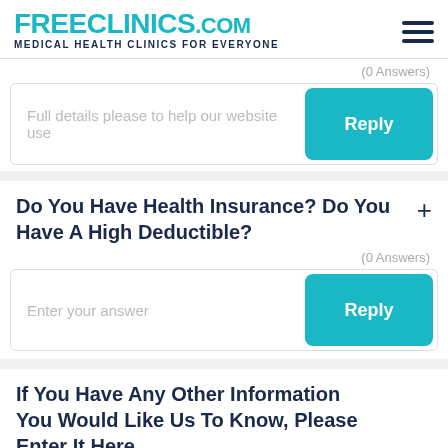FREECLINICS.COM — Medical Health Clinics For Everyone
(0 Answers)
Full details please to help our website use
Reply
Do You Have Health Insurance? Do You Have A High Deductible?
(0 Answers)
Enter your answer
Reply
If You Have Any Other Information You Would Like Us To Know, Please Enter It Here.